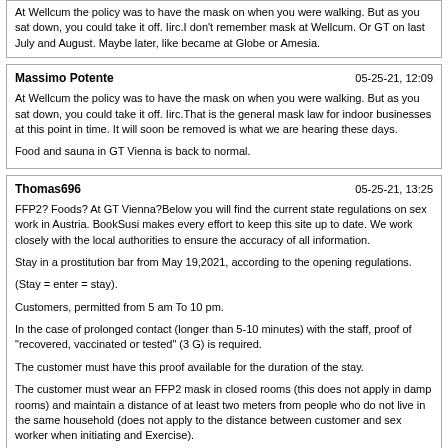At Wellcum the policy was to have the mask on when you were walking. But as you sat down, you could take it off. Iirc.I don't remember mask at Wellcum. Or GT on last July and August. Maybe later, like became at Globe or Amesia.
Massimo Potente | 05-25-21, 12:09 | At Wellcum the policy was to have the mask on when you were walking. But as you sat down, you could take it off. Iirc.That is the general mask law for indoor businesses at this point in time. It will soon be removed is what we are hearing these days.

Food and sauna in GT Vienna is back to normal.
Thomas696 | 05-25-21, 13:25 | FFP2? Foods? At GT Vienna?Below you will find the current state regulations on sex work in Austria. BookSusi makes every effort to keep this site up to date. We work closely with the local authorities to ensure the accuracy of all information.

Stay in a prostitution bar from May 19,2021, according to the opening regulations.

(Stay = enter = stay).

Customers, permitted from 5 am To 10 pm.

In the case of prolonged contact (longer than 5-10 minutes) with the staff, proof of "recovered, vaccinated or tested" (3 G) is required.

The customer must have this proof available for the duration of the stay.

The customer must wear an FFP2 mask in closed rooms (this does not apply in damp rooms) and maintain a distance of at least two meters from people who do not live in the same household (does not apply to the distance between customer and sex worker when initiating and Exercise).